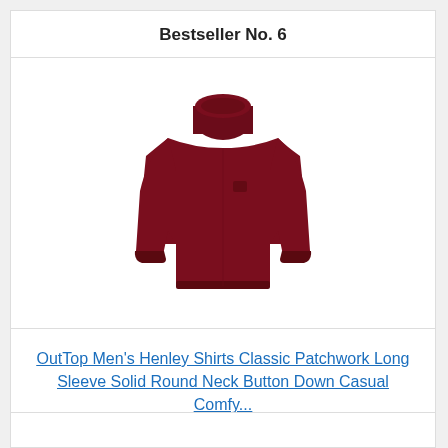Bestseller No. 6
[Figure (photo): Dark maroon/burgundy turtleneck long sleeve shirt displayed on invisible mannequin, front view]
OutTop Men's Henley Shirts Classic Patchwork Long Sleeve Solid Round Neck Button Down Casual Comfy...
Check Price on Amazon